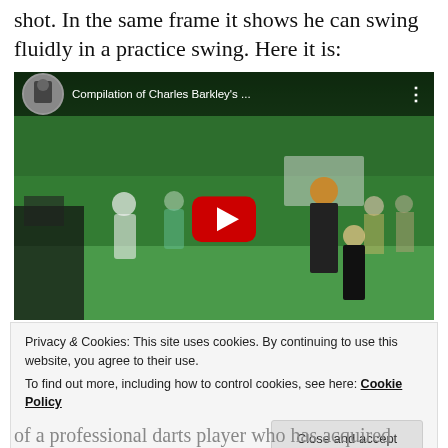shot.  In the same frame it shows he can swing fluidly in a practice swing.  Here it is:
[Figure (screenshot): YouTube video thumbnail showing a golf scene with multiple people on a golf course. The video title reads 'Compilation of Charles Barkley's ...' with a YouTube play button overlay.]
Privacy & Cookies: This site uses cookies. By continuing to use this website, you agree to their use.
To find out more, including how to control cookies, see here: Cookie Policy
of a professional darts player who has acquired